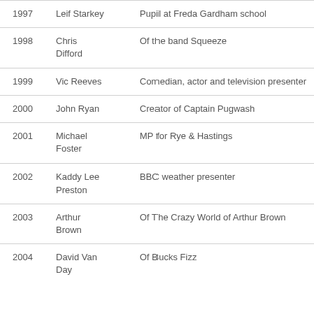| Year | Name | Description |
| --- | --- | --- |
| 1997 | Leif Starkey | Pupil at Freda Gardham school |
| 1998 | Chris Difford | Of the band Squeeze |
| 1999 | Vic Reeves | Comedian, actor and television presenter |
| 2000 | John Ryan | Creator of Captain Pugwash |
| 2001 | Michael Foster | MP for Rye & Hastings |
| 2002 | Kaddy Lee Preston | BBC weather presenter |
| 2003 | Arthur Brown | Of The Crazy World of Arthur Brown |
| 2004 | David Van Day | Of Bucks Fizz |